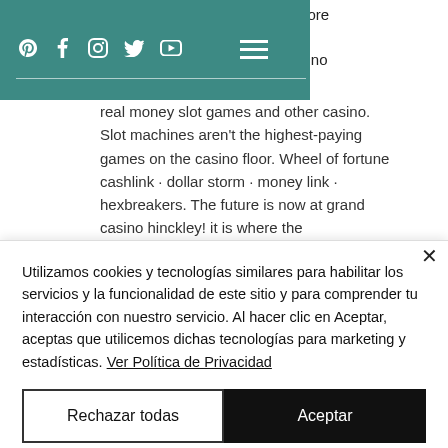Social media icons and navigation bar
core d casino real money slot games and other casino. Slot machines aren't the highest-paying games on the casino floor. Wheel of fortune cashlink · dollar storm · money link · hexbreakers. The future is now at grand casino hinckley! it is where the
Utilizamos cookies y tecnologías similares para habilitar los servicios y la funcionalidad de este sitio y para comprender tu interacción con nuestro servicio. Al hacer clic en Aceptar, aceptas que utilicemos dichas tecnologías para marketing y estadísticas. Ver Política de Privacidad
Rechazar todas
Aceptar
Opciones de cookies